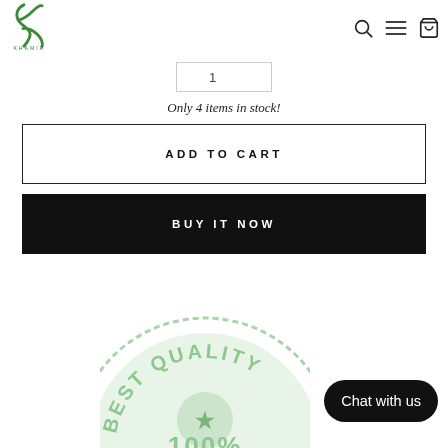[Figure (logo): Khamir brand logo — stylized green cursive letter K with 'KHAMIR' text below]
[Figure (screenshot): Quantity selector input box with border]
Only 4 items in stock!
ADD TO CART
BUY IT NOW
[Figure (illustration): Best Quality 100% circular stamp badge in light green]
Chat with us